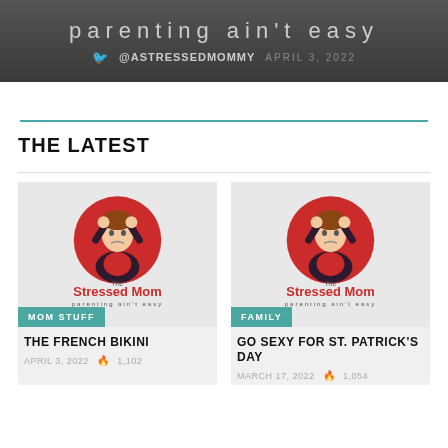parenting ain't easy
@ASTRESSEDMOMMY  APRIL 3, 2022
THE LATEST
[Figure (logo): The Stressed Mom logo with stressed woman character - left card, Mom Stuff category]
MOM STUFF
THE FRENCH BIKINI
APRIL 3, 2022  🔥 1,102
[Figure (logo): The Stressed Mom logo with stressed woman character - right card, Family category]
FAMILY
GO SEXY FOR ST. PATRICK'S DAY
MARCH 17, 2022  🔥 1,054